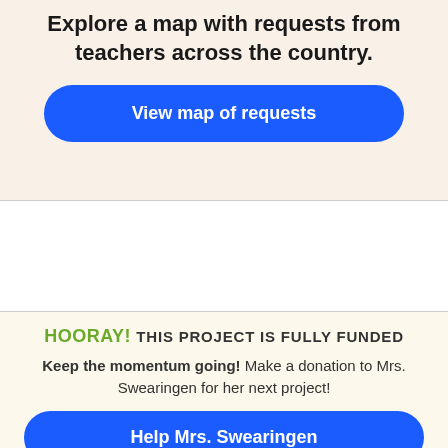Explore a map with requests from teachers across the country.
View map of requests
HOORAY! THIS PROJECT IS FULLY FUNDED
Keep the momentum going! Make a donation to Mrs. Swearingen for her next project!
Help Mrs. Swearingen